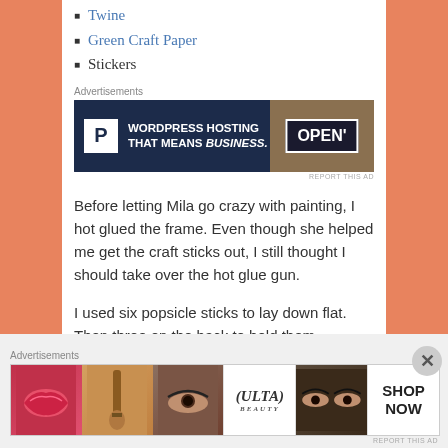Twine
Green Craft Paper
Stickers
Advertisements
[Figure (screenshot): WordPress Hosting advertisement banner: dark navy background with 'P' logo icon and text 'WORDPRESS HOSTING THAT MEANS BUSINESS.' alongside a photo of an OPEN sign]
Before letting Mila go crazy with painting, I hot glued the frame. Even though she helped me get the craft sticks out, I still thought I should take over the hot glue gun.
I used six popsicle sticks to lay down flat. Then three on the back to hold them together.
Once the hot glue dried, it was time to paint!
Advertisements
[Figure (screenshot): ULTA Beauty advertisement strip showing makeup-related photos (lips, makeup brush, eye, ULTA logo, eyes) with SHOP NOW call to action]